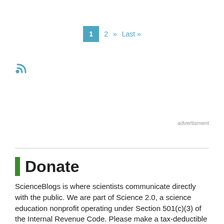1  2  »  Last »
[Figure (other): RSS feed icon — an orange/teal wifi-style arc symbol]
advertisment
Donate
ScienceBlogs is where scientists communicate directly with the public. We are part of Science 2.0, a science education nonprofit operating under Section 501(c)(3) of the Internal Revenue Code. Please make a tax-deductible donation if you value independent